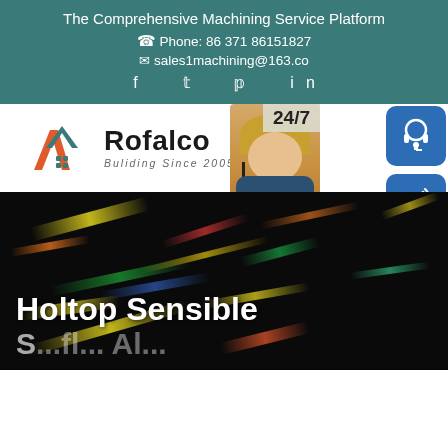The Comprehensive Machining Service Platform
Phone: 86 371 86151827
sales1machining@163.co
f  t  p  in
[Figure (logo): Rofalco logo with geometric house/roof icon in orange and teal, text 'Rofalco' and 'Buliding Since 2005']
[Figure (infographic): 24/7 customer support widget with headset icon, phone icon, Skype icon, photo of female customer service agent, PROVIDE / Empowering Cu... text, and online live button]
Holtop Sensible
S...fl... Al...